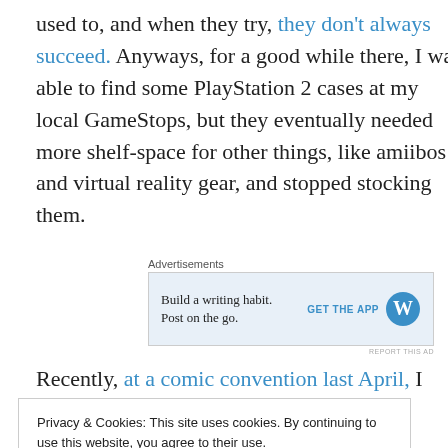used to, and when they try, they don't always succeed. Anyways, for a good while there, I was able to find some PlayStation 2 cases at my local GameStops, but they eventually needed more shelf-space for other things, like amiibos and virtual reality gear, and stopped stocking them.
[Figure (other): Advertisement banner: 'Build a writing habit. Post on the go.' with WordPress logo and GET THE APP button]
Recently, at a comic convention last April, I was able to
Privacy & Cookies: This site uses cookies. By continuing to use this website, you agree to their use. To find out more, including how to control cookies, see here: Cookie Policy